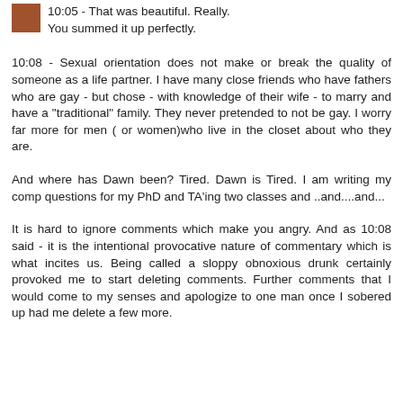10:05 - That was beautiful. Really.
You summed it up perfectly.
10:08 - Sexual orientation does not make or break the quality of someone as a life partner. I have many close friends who have fathers who are gay - but chose - with knowledge of their wife - to marry and have a "traditional" family. They never pretended to not be gay. I worry far more for men ( or women)who live in the closet about who they are.
And where has Dawn been? Tired. Dawn is Tired. I am writing my comp questions for my PhD and TA'ing two classes and ..and....and...
It is hard to ignore comments which make you angry. And as 10:08 said - it is the intentional provocative nature of commentary which is what incites us. Being called a sloppy obnoxious drunk certainly provoked me to start deleting comments. Further comments that I would come to my senses and apologize to one man once I sobered up had me delete a few more.